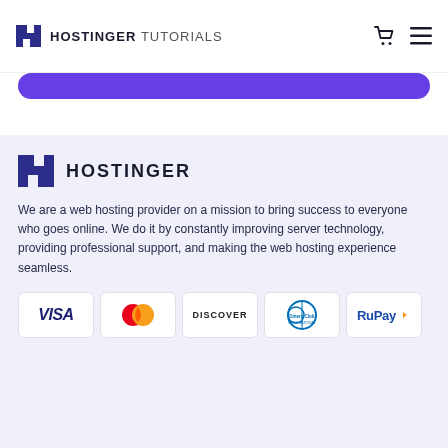HOSTINGER TUTORIALS
[Figure (other): Purple rounded button/bar partially visible at top of content area]
[Figure (logo): Hostinger logo with H icon and HOSTINGER wordmark in footer section]
We are a web hosting provider on a mission to bring success to everyone who goes online. We do it by constantly improving server technology, providing professional support, and making the web hosting experience seamless.
[Figure (other): Payment method logos: VISA, Mastercard, DISCOVER, Diners Club International, RuPay]